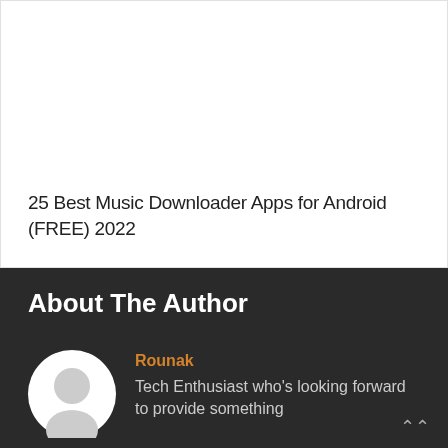25 Best Music Downloader Apps for Android (FREE) 2022
About The Author
Rounak
Tech Enthusiast who's looking forward to provide something